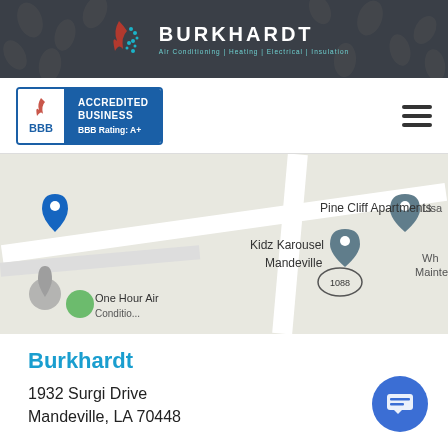BURKHARDT
[Figure (screenshot): BBB Accredited Business badge with BBB Rating A+ in blue, and hamburger menu icon]
[Figure (map): Google Maps screenshot showing Pine Cliff Apartments, Kidz Karousel Mandeville, One Hour Air Conditioning, route 1088, and partial labels Lisa, Wh, Mainte]
Burkhardt
1932 Surgi Drive
Mandeville, LA 70448
985-626-7741
3501 Severn Avenue Suite 19C